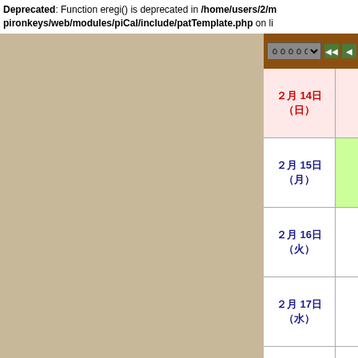Deprecated: Function eregi() is deprecated in /home/users/2/m pironkeys/web/modules/piCal/include/patTemplate.php on li
[Figure (screenshot): Web calendar interface showing month navigation header with dropdown and navigation buttons, displaying 2021年2月（3週）, followed by calendar rows for Feb 14 (Sun), Feb 15 (Mon), Feb 16 (other), Feb 17 (other), Feb 18 (other)]